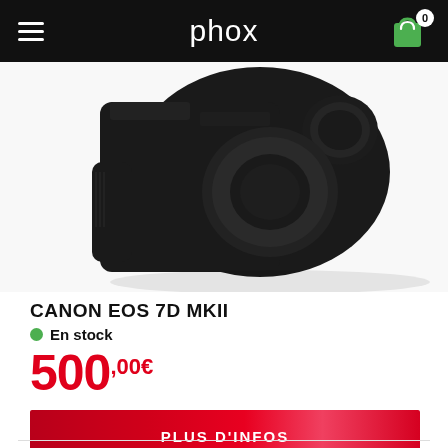phox
[Figure (photo): Partial view of a Canon EOS 7D MKII black DSLR camera body with lens cap on, shown from the top-right angle against a white background]
CANON EOS 7D MKII
En stock
500,00€
PLUS D'INFOS